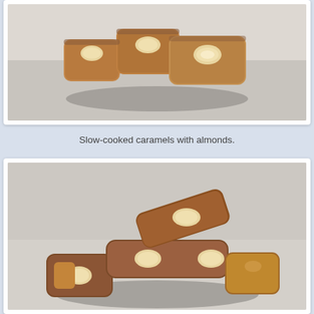[Figure (photo): Close-up photo of slow-cooked caramel candies with almonds, cut to show interior, light background]
Slow-cooked caramels with almonds.
[Figure (photo): Close-up photo of a pile of chocolate-dipped caramel candies with almonds visible, light background]